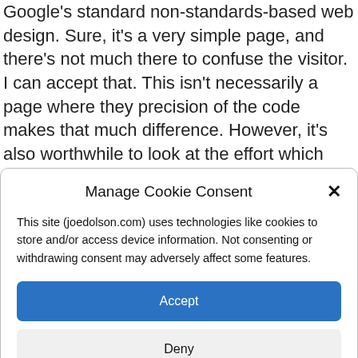Google's standard non-standards-based web design. Sure, it's a very simple page, and there's not much there to confuse the visitor. I can accept that. This isn't necessarily a page where they precision of the code makes that much difference. However, it's also worthwhile to look at the effort which would
Manage Cookie Consent
This site (joedolson.com) uses technologies like cookies to store and/or access device information. Not consenting or withdrawing consent may adversely affect some features.
Accept
Deny
View preferences
Cookie Policy   Privacy Policy